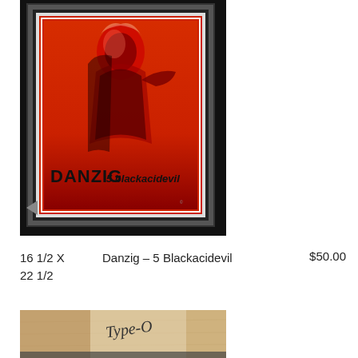[Figure (photo): Framed Danzig 5 Blackacidevil poster in a black frame. The poster has a red background with a shadowy figure and text reading DANZIG 5 blackacidevil at the bottom.]
16 1/2 X 22 1/2	Danzig – 5 Blackacidevil	$50.00
[Figure (photo): Partial view of a brown paper bag or envelope with handwritten text reading Type-O]